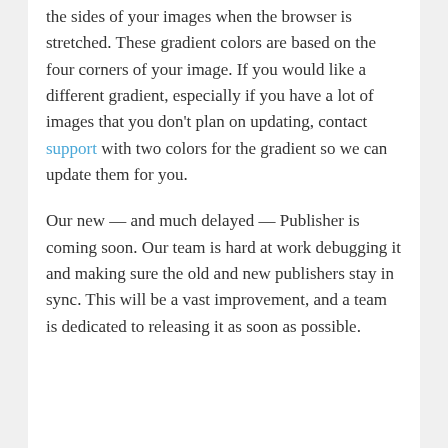the sides of your images when the browser is stretched. These gradient colors are based on the four corners of your image. If you would like a different gradient, especially if you have a lot of images that you don't plan on updating, contact support with two colors for the gradient so we can update them for you.
Our new — and much delayed — Publisher is coming soon. Our team is hard at work debugging it and making sure the old and new publishers stay in sync. This will be a vast improvement, and a team is dedicated to releasing it as soon as possible.